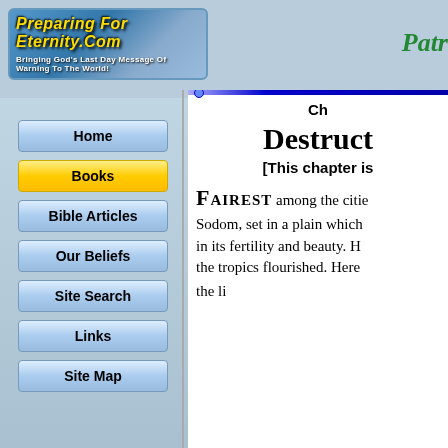[Figure (logo): PreparingForEternity.Com banner logo with yellow stylized text on a sky/clouds background, subtitle reads 'Bringing God's Last Day Message Of Warning To The World!']
Patr
Home
Books
Bible Articles
Our Beliefs
Site Search
Links
Site Map
Ch
Destruct
[This chapter is
FAIREST among the citie Sodom, set in a plain which in its fertility and beauty. H the tropics flourished. Here the li